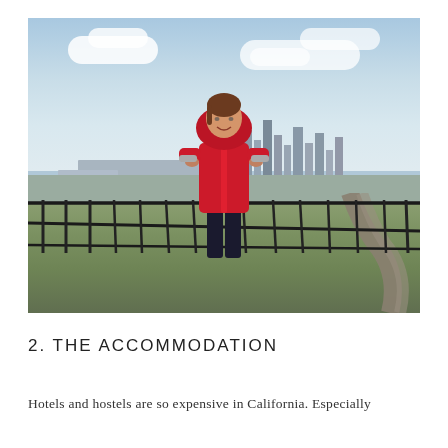[Figure (photo): A young woman in a red jacket standing on a viewing platform railing with the San Francisco city skyline and hills in the background under a partly cloudy sky.]
2. THE ACCOMMODATION
Hotels and hostels are so expensive in California. Especially